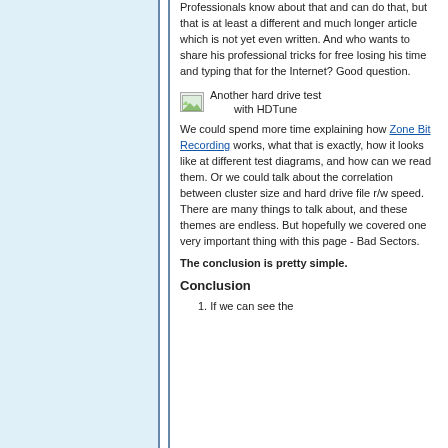Professionals know about that and can do that, but that is at least a different and much longer article which is not yet even written. And who wants to share his professional tricks for free losing his time and typing that for the Internet? Good question.
[Figure (illustration): Small image icon placeholder with caption: Another hard drive test with HDTune]
Another hard drive test with HDTune
We could spend more time explaining how Zone Bit Recording works, what that is exactly, how it looks like at different test diagrams, and how can we read them. Or we could talk about the correlation between cluster size and hard drive file r/w speed. There are many things to talk about, and these themes are endless. But hopefully we covered one very important thing with this page - Bad Sectors.
The conclusion is pretty simple.
Conclusion
1. If we can see the